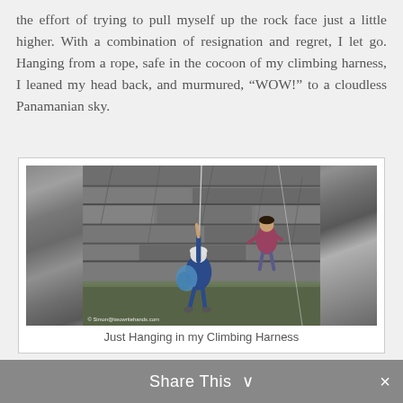the effort of trying to pull myself up the rock face just a little higher. With a combination of resignation and regret, I let go. Hanging from a rope, safe in the cocoon of my climbing harness, I leaned my head back, and murmured, “WOW!” to a cloudless Panamanian sky.
[Figure (photo): A person in a blue shirt and white helmet hanging from a rope on a rock face, reaching upward, with another person in a pink/maroon shirt visible above on the rocky cliff. Green grass visible at the bottom. Watermark: Simon@twowritehands.com]
Just Hanging in my Climbing Harness
Share This ∨ ×